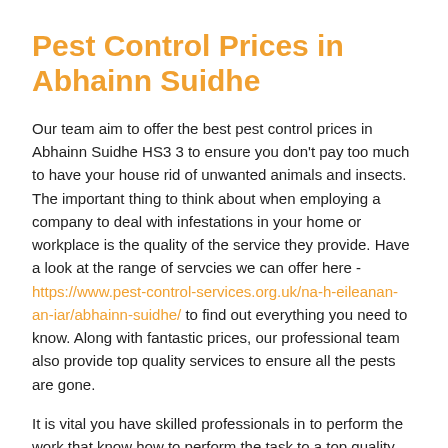Pest Control Prices in Abhainn Suidhe
Our team aim to offer the best pest control prices in Abhainn Suidhe HS3 3 to ensure you don't pay too much to have your house rid of unwanted animals and insects. The important thing to think about when employing a company to deal with infestations in your home or workplace is the quality of the service they provide. Have a look at the range of servcies we can offer here - https://www.pest-control-services.org.uk/na-h-eileanan-an-iar/abhainn-suidhe/ to find out everything you need to know. Along with fantastic prices, our professional team also provide top quality services to ensure all the pests are gone.
It is vital you have skilled professionals in to perform the work that know how to perform the task to a top quality. By having a business that is not properly qualified; you might find some pests are overlooked, which could result in problems down the road. Since every single member of our business is fully qualified and experienced you're sure to know you're in safe hands and shall